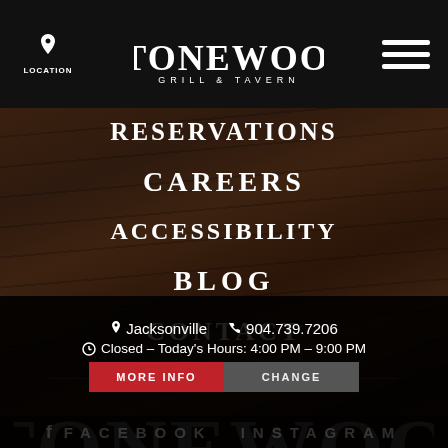[Figure (screenshot): Stonewood Grill & Tavern mobile website navigation page showing menu items on a dark wood background texture with top navigation bar containing location icon, Stonewood logo, and hamburger menu icon.]
LOCATION | STONEWOOD GRILL & TAVERN | (hamburger menu)
RESERVATIONS
CAREERS
ACCESSIBILITY
BLOG
CONTACT
[Figure (logo): Large Stonewood wordmark logo in white on dark wood background]
Jacksonville  904.739.7206
Closed - Today's Hours: 4:00 PM - 9:00 PM
MORE INFO  CHANGE
FACEBOOK  INSTAGRAM